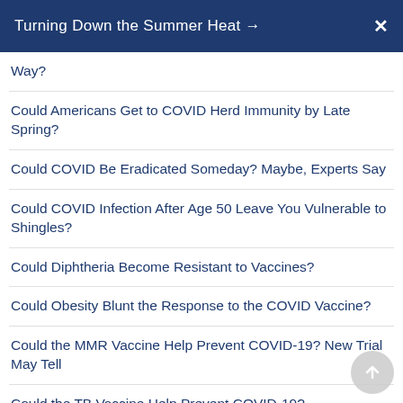Turning Down the Summer Heat →  ✕
Way?
Could Americans Get to COVID Herd Immunity by Late Spring?
Could COVID Be Eradicated Someday? Maybe, Experts Say
Could COVID Infection After Age 50 Leave You Vulnerable to Shingles?
Could Diphtheria Become Resistant to Vaccines?
Could Obesity Blunt the Response to the COVID Vaccine?
Could the MMR Vaccine Help Prevent COVID-19? New Trial May Tell
Could the TB Vaccine Help Prevent COVID-19?
Countries With Universal Health Care Had Better Child Vaccination Rates During Pandemic